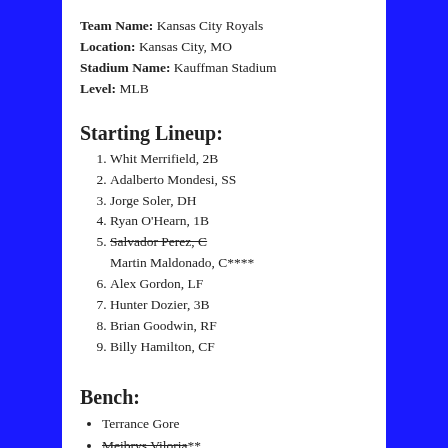Team Name: Kansas City Royals
Location: Kansas City, MO
Stadium Name: Kauffman Stadium
Level: MLB
Starting Lineup:
1. Whit Merrifield, 2B
2. Adalberto Mondesi, SS
3. Jorge Soler, DH
4. Ryan O'Hearn, 1B
5. Salvador Perez, C (strikethrough) / Martin Maldonado, C****
6. Alex Gordon, LF
7. Hunter Dozier, 3B
8. Brian Goodwin, RF
9. Billy Hamilton, CF
Bench:
Terrance Gore
Meibrys Viloria**